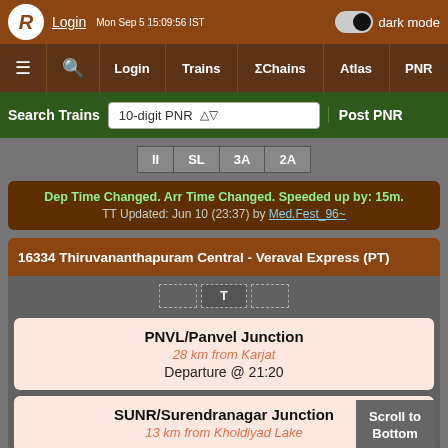Login | dark mode | Mon Sep 5 15:09:56 IST
≡ 🔍 Login | Trains | ΣChains | Atlas | PNR
Search Trains | 10-digit PNR | Post PNR
II  SL  3A  2A
Dep Time Changed. Arr Time Changed. Speeded up by: 15m. TT Updated: Jun 10 (23:37) by Med.Fest_96~
16334 Thiruvananthapuram Central - Veraval Express (PT)
T
PNVL/Panvel Junction
28 km from Karjat
Departure @ 21:20
SUNR/Surendranagar Junction
13 km from Kholdiyad Lake
Scroll to Bottom